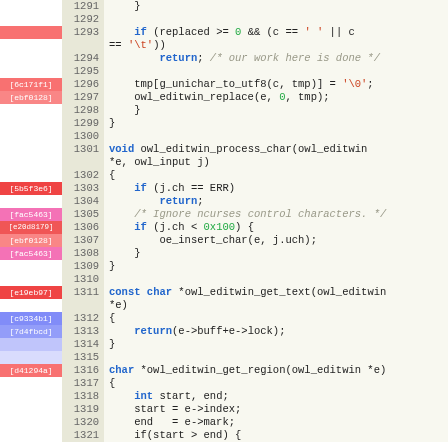[Figure (screenshot): Source code viewer showing C code lines 1291-1321 with blame annotations on the left margin indicating commit hashes colored in red, pink, and purple, and line numbers in a beige gutter.]